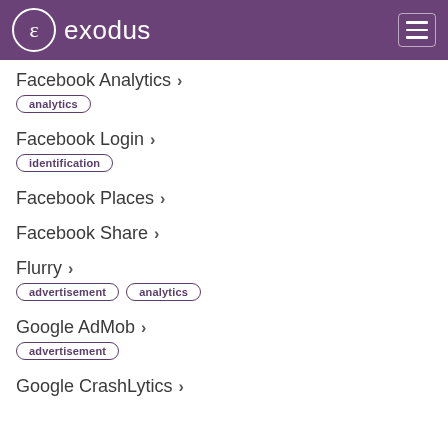exodus
Facebook Analytics
analytics
Facebook Login
identification
Facebook Places
Facebook Share
Flurry
advertisement, analytics
Google AdMob
advertisement
Google CrashLytics